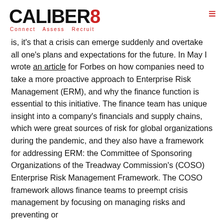CALIBER8 — Connect · Assess · Recruit
is, it's that a crisis can emerge suddenly and overtake all one's plans and expectations for the future. In May I wrote an article for Forbes on how companies need to take a more proactive approach to Enterprise Risk Management (ERM), and why the finance function is essential to this initiative. The finance team has unique insight into a company's financials and supply chains, which were great sources of risk for global organizations during the pandemic, and they also have a framework for addressing ERM: the Committee of Sponsoring Organizations of the Treadway Commission's (COSO) Enterprise Risk Management Framework. The COSO framework allows finance teams to preempt crisis management by focusing on managing risks and preventing or